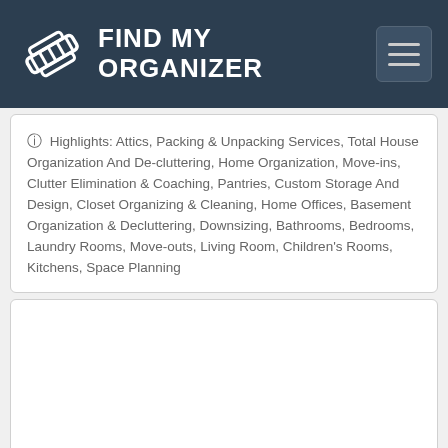FIND MY ORGANIZER
Highlights: Attics, Packing & Unpacking Services, Total House Organization And De-cluttering, Home Organization, Move-ins, Clutter Elimination & Coaching, Pantries, Custom Storage And Design, Closet Organizing & Cleaning, Home Offices, Basement Organization & Decluttering, Downsizing, Bathrooms, Bedrooms, Laundry Rooms, Move-outs, Living Room, Children's Rooms, Kitchens, Space Planning